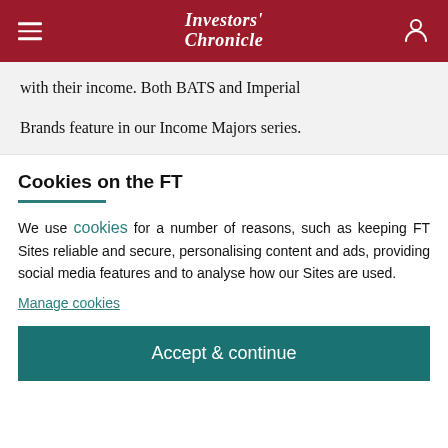Investors' Chronicle
with their income. Both BATS and Imperial

Brands feature in our Income Majors series.
Cookies on the FT
We use cookies for a number of reasons, such as keeping FT Sites reliable and secure, personalising content and ads, providing social media features and to analyse how our Sites are used.
Manage cookies
Accept & continue